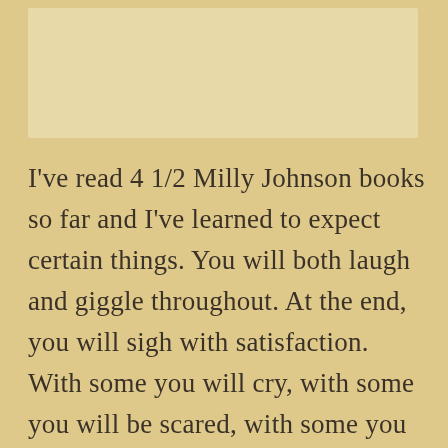[Figure (other): Book cover image placeholder area with light tan/beige background]
I've read 4 1/2 Milly Johnson books so far and I've learned to expect certain things. You will both laugh and giggle throughout. At the end, you will sigh with satisfaction. With some you will cry, with some you will be scared, with some you will stand up and cheer, and with some, you will be